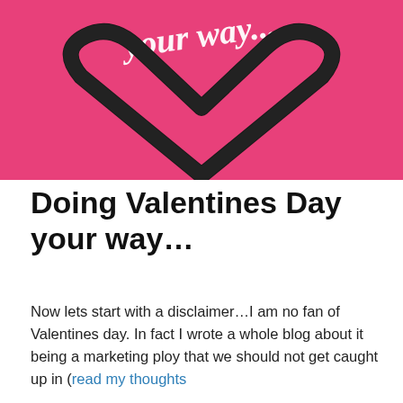[Figure (illustration): Pink Valentine's Day banner with a large black heart outline and cursive white text reading 'your way...' at the top]
Doing Valentines Day your way…
Now lets start with a disclaimer…I am no fan of Valentines day. In fact I wrote a whole blog about it being a marketing ploy that we should not get caught up in (read my thoughts
Privacy & Cookies: This site uses cookies. By continuing to use this website, you agree to their use.
To find out more, including how to control cookies, see here: Cookie Policy
Close and accept